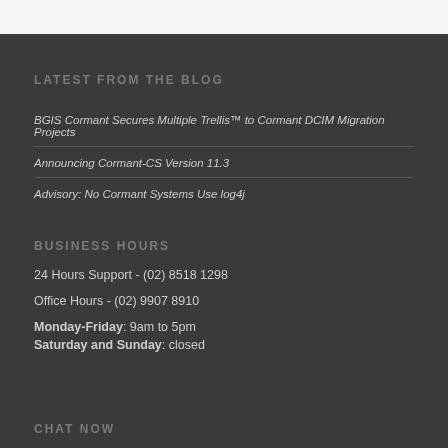LATEST FROM THE BLOG
BGIS Cormant Secures Multiple Trellis™ to Cormant DCIM Migration Projects
Announcing Cormant-CS Version 11.3
Advisory: No Cormant Systems Use log4j
BUSINESS HOURS
24 Hours Support - (02) 8518 1298
Office Hours - (02) 9907 8910
Monday-Friday: 9am to 5pm
Saturday and Sunday: closed
CHAT NOW